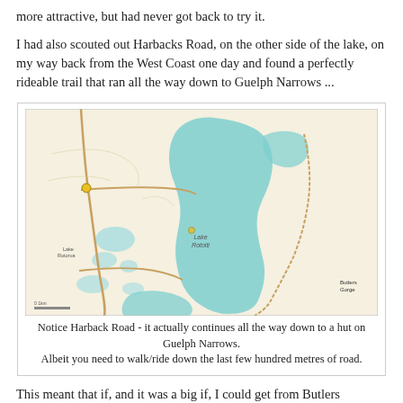more attractive, but had never got back to try it.
I had also scouted out Harbacks Road, on the other side of the lake, on my way back from the West Coast one day and found a perfectly rideable trail that ran all the way down to Guelph Narrows ...
[Figure (map): Topographic map showing a lake (Lake Rotoiti area) with roads including Harback Road running down to Guelph Narrows, and Butler's Gorge marked in the lower right.]
Notice Harback Road - it actually continues all the way down to a hut on Guelph Narrows.
Albeit you need to walk/ride down the last few hundred metres of road.
This meant that if, and it was a big if, I could get from Butlers